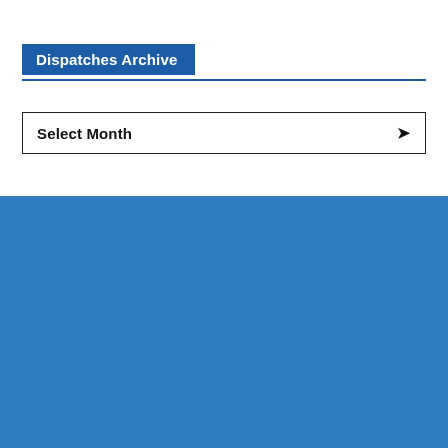Dispatches Archive
Select Month
[Figure (logo): ForeignAffairs.co.nz logo with tagline 'global open source intel.' on blue background, with social media icons below (Facebook, LinkedIn, Spotify, Twitter, YouTube)]